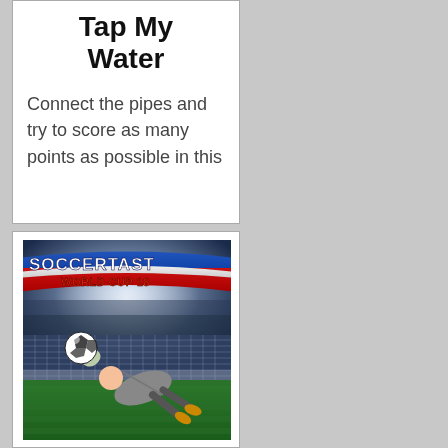Tap My Water
Connect the pipes and try to score as many points as possible in this
[Figure (illustration): Soccertastic World Cup 18 game cover image showing a goalkeeper diving to save a ball in front of a goal net, with the game title 'SOCCERTAST WORLD CUP 18' displayed prominently]